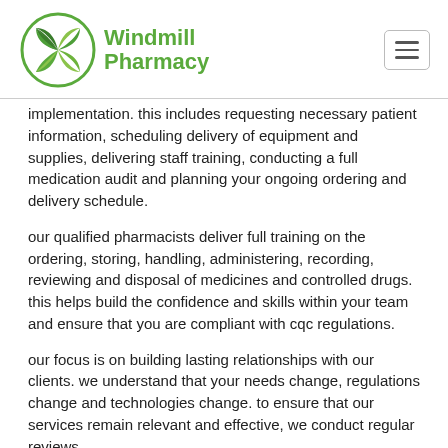Windmill Pharmacy
implementation. this includes requesting necessary patient information, scheduling delivery of equipment and supplies, delivering staff training, conducting a full medication audit and planning your ongoing ordering and delivery schedule.
our qualified pharmacists deliver full training on the ordering, storing, handling, administering, recording, reviewing and disposal of medicines and controlled drugs. this helps build the confidence and skills within your team and ensure that you are compliant with cqc regulations.
our focus is on building lasting relationships with our clients. we understand that your needs change, regulations change and technologies change. to ensure that our services remain relevant and effective, we conduct regular reviews.